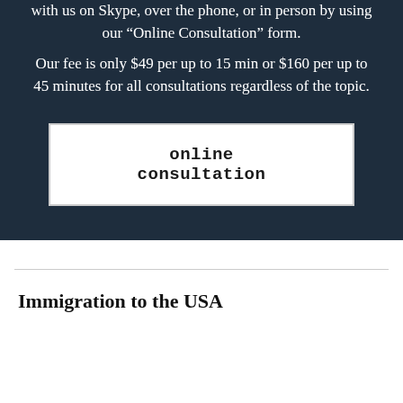with us on Skype, over the phone, or in person by using our “Online Consultation” form.
Our fee is only $49 per up to 15 min or $160 per up to 45 minutes for all consultations regardless of the topic.
[Figure (other): White button with text 'online consultation' on dark background panel]
Immigration to the USA